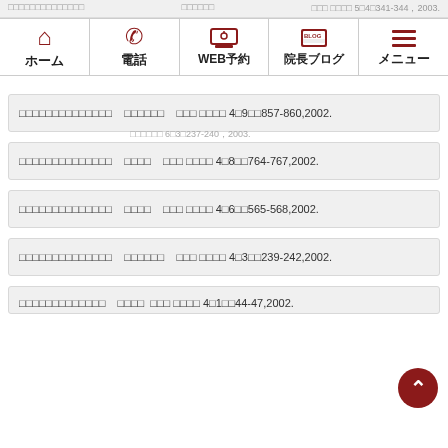□□□□□□□□□□□□□□  □□□□□□  □□□ □□□□ 5□4□341-344，2003.
[Figure (screenshot): Navigation bar with icons: ホーム (home), 電話 (phone), WEB予約 (web booking), 院長ブログ (blog), メニュー (menu)]
□□□□□□□□□□□□□□  □□□□□□  □□□ □□□□ 6□3□237-240，2003.
□□□□□□□□□□□□□□  □□□□□□  □□□ □□□□ 4□9□□857-860,2002.
□□□□□□□□□□□□□□  □□□□  □□□ □□□□ 4□8□□764-767,2002.
□□□□□□□□□□□□□□  □□□□  □□□ □□□□ 4□6□□565-568,2002.
□□□□□□□□□□□□□□  □□□□□□  □□□ □□□□ 4□3□□239-242,2002.
□□□□□□□□□□□□□  □□□□ □□□ □□□□ 4□1□□44-47,2002.